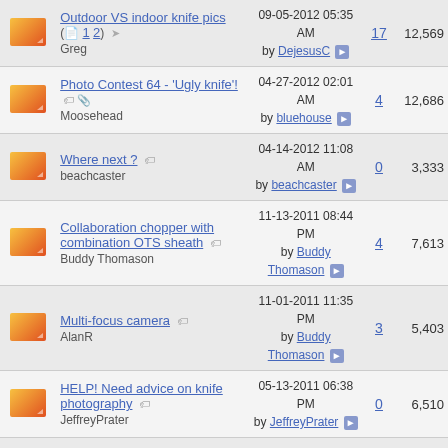|  | Thread | Last Post | Replies | Views |
| --- | --- | --- | --- | --- |
| [icon] | Outdoor VS indoor knife pics (1 2)
Greg | 09-05-2012 05:35 AM by DejesusC | 17 | 12,569 |
| [icon] | Photo Contest 64 - 'Ugly knife'!
Moosehead | 04-27-2012 02:01 AM by bluehouse | 4 | 12,686 |
| [icon] | Where next ?
beachcaster | 04-14-2012 11:08 AM by beachcaster | 0 | 3,333 |
| [icon] | Collaboration chopper with combination OTS sheath
Buddy Thomason | 11-13-2011 08:44 PM by Buddy Thomason | 4 | 7,613 |
| [icon] | Multi-focus camera
AlanR | 11-01-2011 11:35 PM by Buddy Thomason | 3 | 5,403 |
| [icon] | HELP! Need advice on knife photography
JeffreyPrater | 05-13-2011 06:38 PM by JeffreyPrater | 0 | 6,510 |
| [icon] | ?? post pics
bob levine | 05-12-2011 08:56 AM by joe sangster | 1 | 5,927 |
| [icon] | New B'Day Gift
Barbara Turner | 04-19-2011 01:10 PM by Barbara Turner | 2 | 5,441 |
| [icon] | Damascus Hunter Different | 11-24-2010 03:18 AM |  |  |